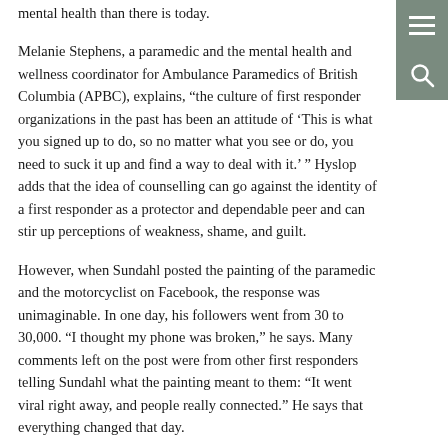mental health than there is today.
Melanie Stephens, a paramedic and the mental health and wellness coordinator for Ambulance Paramedics of British Columbia (APBC), explains, “the culture of first responder organizations in the past has been an attitude of ‘This is what you signed up to do, so no matter what you see or do, you need to suck it up and find a way to deal with it.’ ” Hyslop adds that the idea of counselling can go against the identity of a first responder as a protector and dependable peer and can stir up perceptions of weakness, shame, and guilt.
However, when Sundahl posted the painting of the paramedic and the motorcyclist on Facebook, the response was unimaginable. In one day, his followers went from 30 to 30,000. “I thought my phone was broken,” he says. Many comments left on the post were from other first responders telling Sundahl what the painting meant to them: “It went viral right away, and people really connected.” He says that everything changed that day.
From Memory to Concept